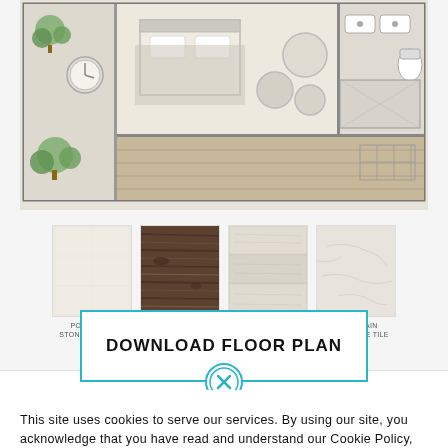[Figure (engineering-diagram): Floor plan of a hotel room showing bedroom with bed, seating area with round chairs, bathroom with fixtures, and an outdoor terrace area with plants]
[Figure (illustration): Four material swatches: Porcelain Stoneware Tile (beige), Natural Wood (dark brown wood), Wood Plank Tile (light wood), Porcelain Stoneware Tile (light stone)]
DOWNLOAD FLOOR PLAN
[Figure (illustration): Teal close/dismiss circle button with X icon]
This site uses cookies to serve our services. By using our site, you acknowledge that you have read and understand our Cookie Policy, Privacy Policy. Your use of The Kailani Grand Cayman Curio Collection Hilton is subject to these policies.